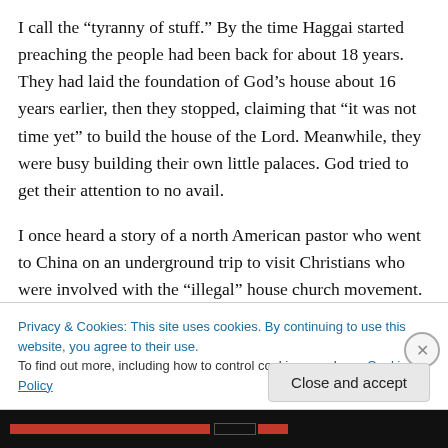I call the “tyranny of stuff.” By the time Haggai started preaching the people had been back for about 18 years. They had laid the foundation of God’s house about 16 years earlier, then they stopped, claiming that “it was not time yet” to build the house of the Lord. Meanwhile, they were busy building their own little palaces. God tried to get their attention to no avail.
I once heard a story of a north American pastor who went to China on an underground trip to visit Christians who were involved with the “illegal” house church movement.
Privacy & Cookies: This site uses cookies. By continuing to use this website, you agree to their use.
To find out more, including how to control cookies, see here: Cookie Policy
Close and accept